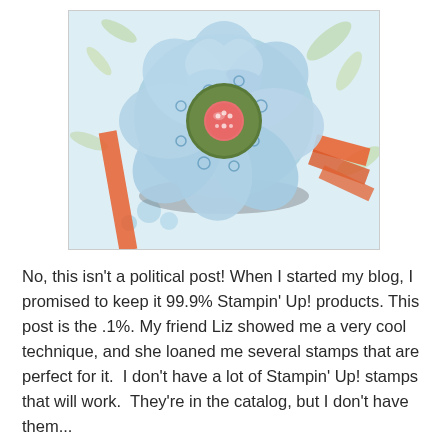[Figure (photo): Close-up photo of a handmade paper flower craft in blue and white with a green center circle and coral/pink polka-dot button in the middle. Orange ribbon visible on the right. Floral patterned background.]
No, this isn't a political post! When I started my blog, I promised to keep it 99.9% Stampin' Up! products. This post is the .1%. My friend Liz showed me a very cool technique, and she loaned me several stamps that are perfect for it.  I don't have a lot of Stampin' Up! stamps that will work.  They're in the catalog, but I don't have them...